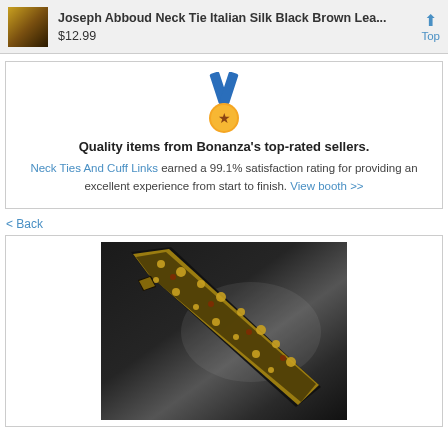Joseph Abboud Neck Tie Italian Silk Black Brown Lea... $12.99 Top
[Figure (infographic): Gold medal with blue ribbon — quality badge icon]
Quality items from Bonanza's top-rated sellers.
Neck Ties And Cuff Links earned a 99.1% satisfaction rating for providing an excellent experience from start to finish. View booth >>
< Back
[Figure (photo): Black and gold floral silk necktie laid diagonally on dark background]